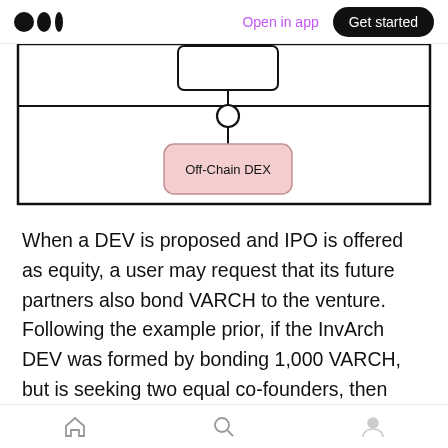Open in app | Get started
[Figure (flowchart): Partial flowchart showing an Off-Chain DEX node connected via a circle junction node to lines above, within a bordered rectangle frame.]
When a DEV is proposed and IPO is offered as equity, a user may request that its future partners also bond VARCH to the venture. Following the example prior, if the InvArch DEV was formed by bonding 1,000 VARCH, but is seeking two equal co-founders, then there would be a bonding requirement equal to this initial amount, i.e. 1,000
Home | Search | Profile